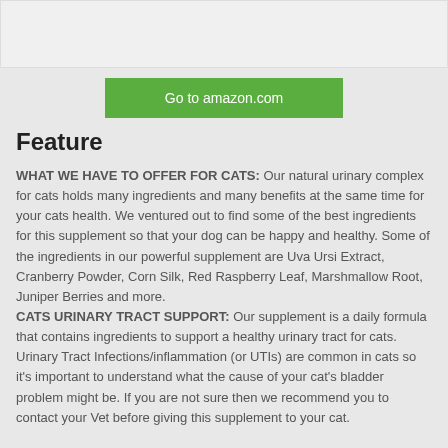[Figure (photo): Top portion of a product image, mostly white background, cropped at top]
Go to amazon.com
Feature
WHAT WE HAVE TO OFFER FOR CATS: Our natural urinary complex for cats holds many ingredients and many benefits at the same time for your cats health. We ventured out to find some of the best ingredients for this supplement so that your dog can be happy and healthy. Some of the ingredients in our powerful supplement are Uva Ursi Extract, Cranberry Powder, Corn Silk, Red Raspberry Leaf, Marshmallow Root, Juniper Berries and more.
CATS URINARY TRACT SUPPORT: Our supplement is a daily formula that contains ingredients to support a healthy urinary tract for cats. Urinary Tract Infections/inflammation (or UTIs) are common in cats so it's important to understand what the cause of your cat's bladder problem might be. If you are not sure then we recommend you to contact your Vet before giving this supplement to your cat.